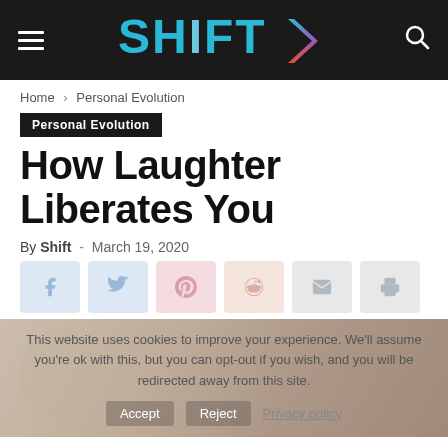SHIFT (logo with arrow)
Home › Personal Evolution
Personal Evolution
How Laughter Liberates You
By Shift - March 19, 2020
[Figure (other): Row of social media share buttons (Facebook, Twitter, Pinterest, Reddit, email, print) with light blue/grey icons]
[Figure (photo): Partially visible article hero image of a person, overlaid with a cookie consent notice: 'This website uses cookies to improve your experience. We'll assume you're ok with this, but you can opt-out if you wish, and you will be redirected away from this site.' with Accept, Reject, and Privacy policy buttons.]